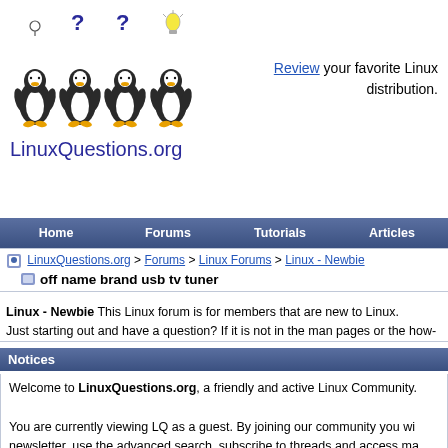[Figure (logo): LinuxQuestions.org logo with four penguins and question marks/lightbulb above them, and the site name below]
Review your favorite Linux distribution.
Home   Forums   Tutorials   Articles
LinuxQuestions.org > Forums > Linux Forums > Linux - Newbie
off name brand usb tv tuner
Linux - Newbie This Linux forum is for members that are new to Linux. Just starting out and have a question? If it is not in the man pages or the how-to's this is t
Notices
Welcome to LinuxQuestions.org, a friendly and active Linux Community. You are currently viewing LQ as a guest. By joining our community you wi newsletter, use the advanced search, subscribe to threads and access ma simple and absolutely free. Join our community today!